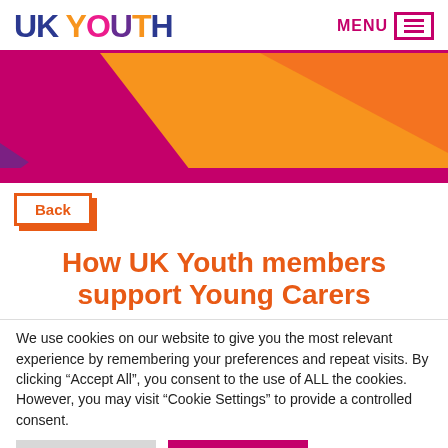UK YOUTH | MENU
[Figure (illustration): Geometric banner with overlapping triangles in magenta, purple, orange, and coral colours on a crimson background]
Back
How UK Youth members support Young Carers
We use cookies on our website to give you the most relevant experience by remembering your preferences and repeat visits. By clicking “Accept All”, you consent to the use of ALL the cookies. However, you may visit “Cookie Settings” to provide a controlled consent.
Cookie Settings | Accept All